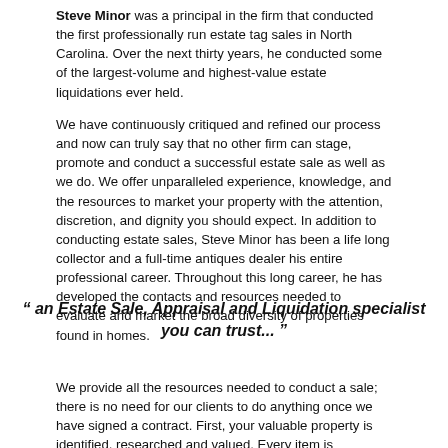Steve Minor was a principal in the firm that conducted the first professionally run estate tag sales in North Carolina. Over the next thirty years, he conducted some of the largest-volume and highest-value estate liquidations ever held.
We have continuously critiqued and refined our process and now can truly say that no other firm can stage, promote and conduct a successful estate sale as well as we do. We offer unparalleled experience, knowledge, and the resources to market your property with the attention, discretion, and dignity you should expect. In addition to conducting estate sales, Steve Minor has been a life long collector and a full-time antiques dealer his entire professional career. Throughout this long career, he has developed the contacts and resources needed to evaluate and market the broad diversity of properties found in homes.
" an Estate Sale, Appraisal and Liquidation specialist you can trust... "
We provide all the resources needed to conduct a sale; there is no need for our clients to do anything once we have signed a contract. First, your valuable property is identified, researched and valued. Every item is inventoried and then we carefully arrange and stage your home. Great care